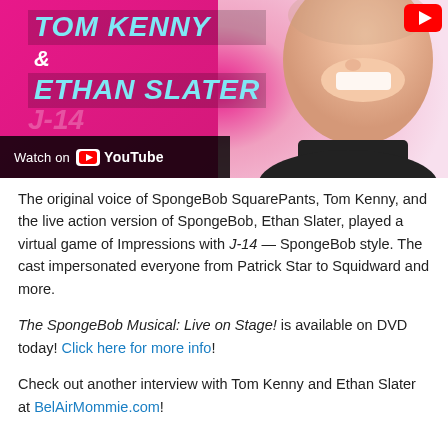[Figure (screenshot): YouTube video thumbnail showing Tom Kenny and Ethan Slater. Pink background with bold italic text reading TOM KENNY & ETHAN SLATER. A man's face is visible on the right. A 'Watch on YouTube' bar is in the lower left. A red YouTube play button icon appears in the top right.]
The original voice of SpongeBob SquarePants, Tom Kenny, and the live action version of SpongeBob, Ethan Slater, played a virtual game of Impressions with J-14 — SpongeBob style. The cast impersonated everyone from Patrick Star to Squidward and more.
The SpongeBob Musical: Live on Stage! is available on DVD today! Click here for more info!
Check out another interview with Tom Kenny and Ethan Slater at BelAirMommie.com!